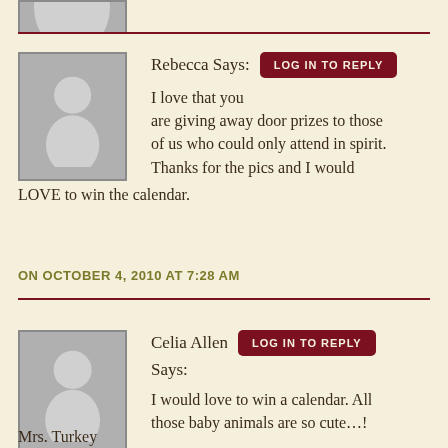[Figure (illustration): Partially visible user avatar placeholder (grey silhouette) at top of page]
Rebecca Says: LOG IN TO REPLY
I love that you are giving away door prizes to those of us who could only attend in spirit. Thanks for the pics and I would LOVE to win the calendar.
ON OCTOBER 4, 2010 AT 7:28 AM
Celia Allen Says: LOG IN TO REPLY
I would love to win a calendar. All those baby animals are so cute…!
Mrs. Turkey